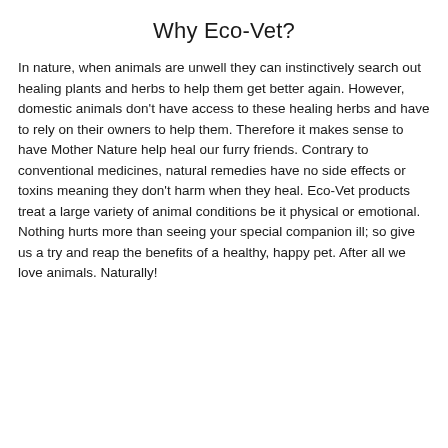Why Eco-Vet?
In nature, when animals are unwell they can instinctively search out healing plants and herbs to help them get better again. However, domestic animals don't have access to these healing herbs and have to rely on their owners to help them. Therefore it makes sense to have Mother Nature help heal our furry friends. Contrary to conventional medicines, natural remedies have no side effects or toxins meaning they don't harm when they heal. Eco-Vet products treat a large variety of animal conditions be it physical or emotional. Nothing hurts more than seeing your special companion ill; so give us a try and reap the benefits of a healthy, happy pet. After all we love animals. Naturally!